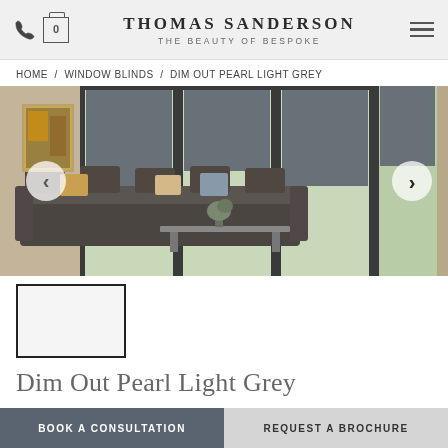THOMAS SANDERSON — THE BEAUTY OF BESPOKE
HOME / WINDOW BLINDS / DIM OUT PEARL LIGHT GREY
[Figure (photo): Modern living room with dark grey roller blinds on large floor-to-ceiling windows, dark grey sofa with cushions, and natural light from garden view]
[Figure (photo): Thumbnail: close-up of Dim Out Pearl Light Grey blind fabric]
Dim Out Pearl Light Grey
BOOK A CONSULTATION
REQUEST A BROCHURE